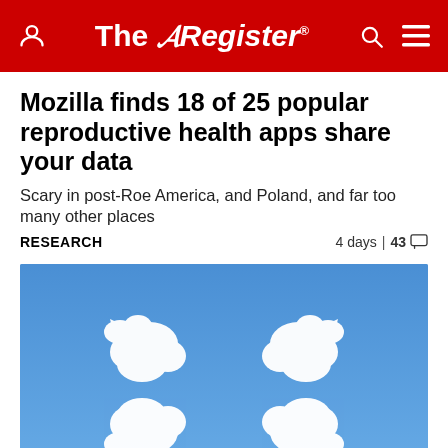The Register
Mozilla finds 18 of 25 popular reproductive health apps share your data
Scary in post-Roe America, and Poland, and far too many other places
RESEARCH   4 days | 43 comments
[Figure (photo): White clouds shaped like snowflake or directional arrows arranged in a 2x2 pattern against a bright blue sky]